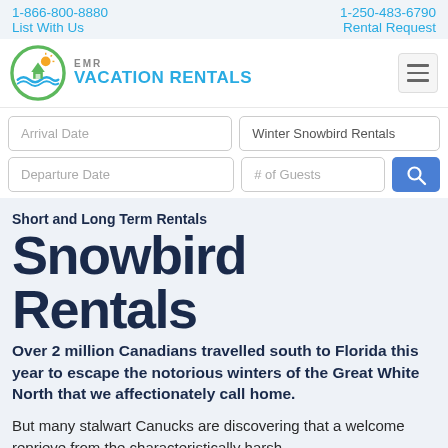1-866-800-8880 | List With Us | 1-250-483-6790 | Rental Request
[Figure (logo): EMR Vacation Rentals logo with circular green/blue icon and text 'EMR VACATION RENTALS']
Arrival Date | Winter Snowbird Rentals | Departure Date | # of Guests
Short and Long Term Rentals
Snowbird Rentals
Over 2 million Canadians travelled south to Florida this year to escape the notorious winters of the Great White North that we affectionately call home.
But many stalwart Canucks are discovering that a welcome reprieve from the characteristically harsh